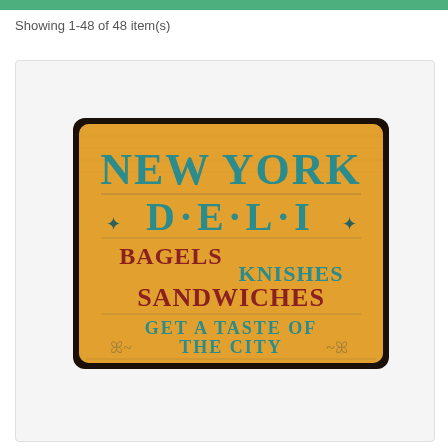Showing 1-48 of 48 item(s)
[Figure (photo): Vintage-style New York Deli decorative sign on orange/yellow background with teal and dark red text reading: NEW YORK D·E·L·I BAGELS KNISHES SANDWICHES GET A TASTE OF THE CITY]